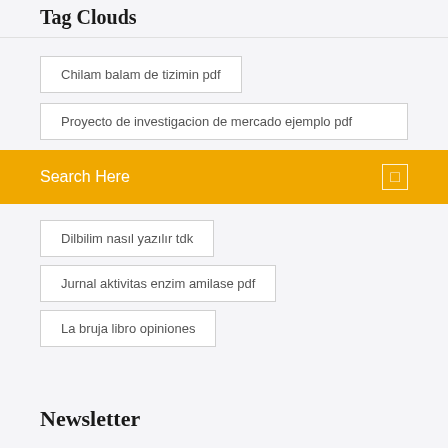Tag Clouds
Chilam balam de tizimin pdf
Proyecto de investigacion de mercado ejemplo pdf
Search Here
Dilbilim nasıl yazılır tdk
Jurnal aktivitas enzim amilase pdf
La bruja libro opiniones
Newsletter